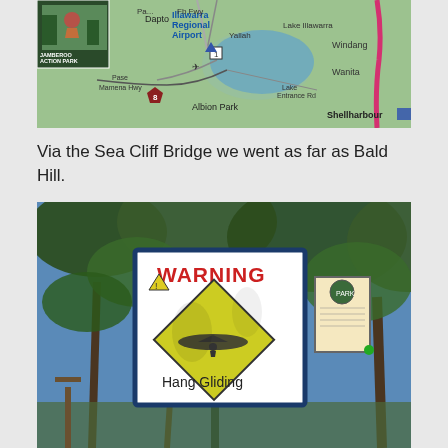[Figure (photo): A map showing the Illawarra region of New South Wales, Australia. Features include Jamberoo Action Park, Illawarra Regional Airport, Dapto, Yallah, Lake Illawarra, Windang, Wanita, Albion Park with route 8 marker, Shellharbour, Mamena Hwy, and Lake Entrance Rd. A pink highway line runs along the right side.]
Via the Sea Cliff Bridge we went as far as Bald Hill.
[Figure (photo): A photograph taken outdoors showing a warning sign mounted on a post. The sign has a blue border and displays 'WARNING' in bold red letters, with a yellow diamond warning sign featuring a hang glider silhouette underneath. Below the diamond sign are the words 'Hang Gliding'. Trees and blue sky are visible in the background. A smaller informational sign is also visible to the right.]